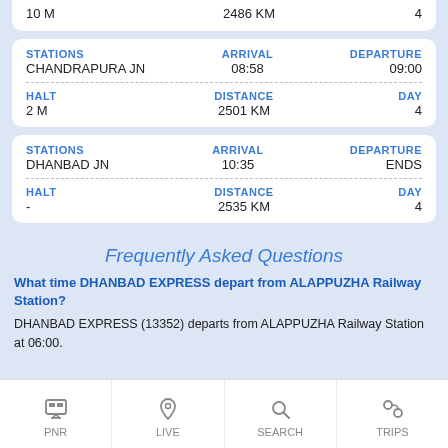| 10 M | 2486 KM | 4 |
| --- | --- | --- |
| STATIONS | ARRIVAL | DEPARTURE |
| --- | --- | --- |
| CHANDRAPURA JN | 08:58 | 09:00 |
| HALT
2 M | DISTANCE
2501 KM | DAY
4 |
| STATIONS | ARRIVAL | DEPARTURE |
| --- | --- | --- |
| DHANBAD JN | 10:35 | ENDS |
| HALT
- | DISTANCE
2535 KM | DAY
4 |
Frequently Asked Questions
What time DHANBAD EXPRESS depart from ALAPPUZHA Railway Station?
DHANBAD EXPRESS (13352) departs from ALAPPUZHA Railway Station at 06:00.
PNR | LIVE | SEARCH | TRIPS